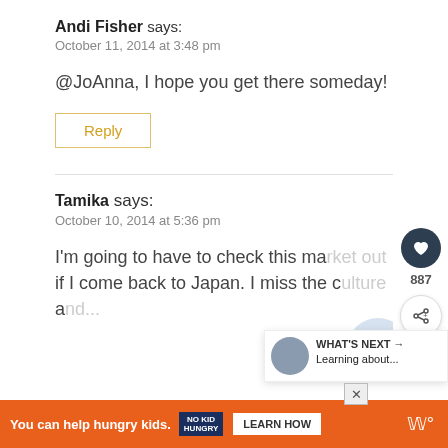Andi Fisher says: October 11, 2014 at 3:48 pm
@JoAnna, I hope you get there someday!
Reply
Tamika says: October 10, 2014 at 5:36 pm
I'm going to have to check this market out if I come back to Japan. I miss the culture a...
You can help hungry kids. NO KID HUNGRY LEARN HOW